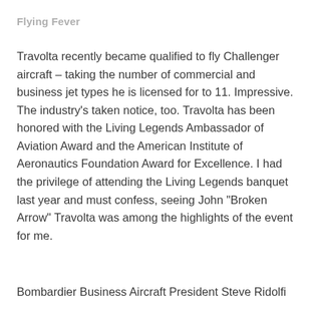Flying Fever
Travolta recently became qualified to fly Challenger aircraft – taking the number of commercial and business jet types he is licensed for to 11. Impressive. The industry's taken notice, too. Travolta has been honored with the Living Legends Ambassador of Aviation Award and the American Institute of Aeronautics Foundation Award for Excellence. I had the privilege of attending the Living Legends banquet last year and must confess, seeing John "Broken Arrow" Travolta was among the highlights of the event for me.
Bombardier Business Aircraft President Steve Ridolfi